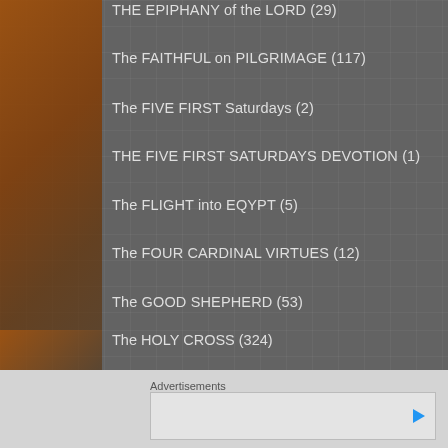THE EPIPHANY of the LORD (29)
The FAITHFUL on PILGRIMAGE (117)
The FIVE FIRST Saturdays (2)
THE FIVE FIRST SATURDAYS DEVOTION (1)
The FLIGHT into EQYPT (5)
The FOUR CARDINAL VIRTUES (12)
The GOOD SHEPHERD (53)
The HEART (212)
The HOLY CROSS (324)
The HOLY EUCHARIST (654)
Advertisements